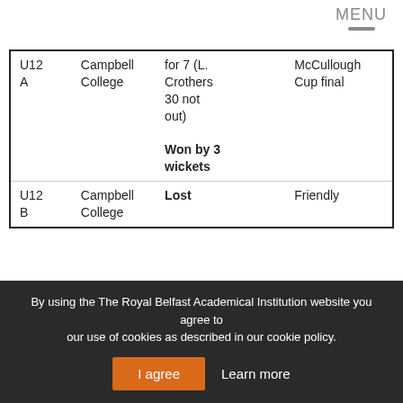MENU
|  |  |  |  |
| --- | --- | --- | --- |
| U12 A | Campbell College | for 7 (L. Crothers 30 not out)

Won by 3 wickets | McCullough Cup final |
| U12 B | Campbell College | Lost | Friendly |
Keywords: Cricket Results
By using the The Royal Belfast Academical Institution website you agree to our use of cookies as described in our cookie policy.